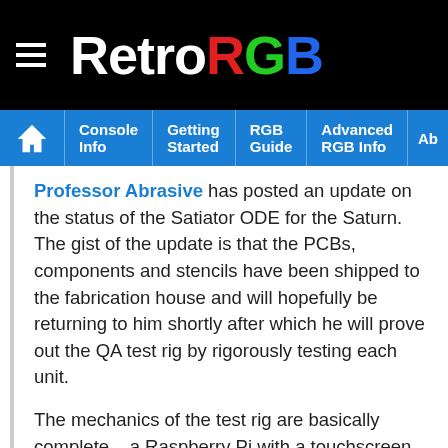RetroRGB
Console Info | Getting Started | RGB Guide | Advanced RGB Info | Ab
Professor Abrasive has posted an update on the status of the Satiator ODE for the Saturn.  The gist of the update is that the PCBs, components and stencils have been shipped to the fabrication house and will hopefully be returning to him shortly after which he will prove out the QA test rig by rigorously testing each unit.
The mechanics of the test rig are basically complete – a Raspberry Pi with a touchscreen – but the front end is a little rough and needs some work.  He intends to eventually replace it with a web-based GUI for ease of use and updating.  He's also exploring solutions for a plastic case for the small